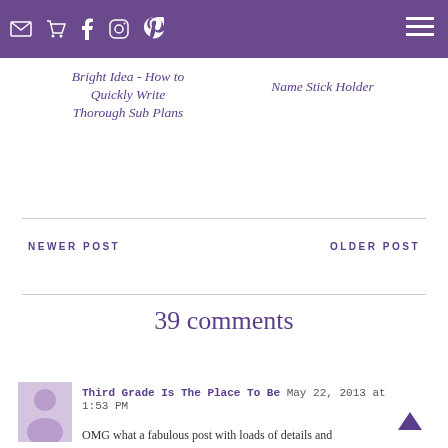Sub Plans blog — navigation header with icons (email, cart, facebook, instagram, pinterest) and hamburger menu
Bright Idea - How to Quickly Write Thorough Sub Plans
Name Stick Holder
NEWER POST
OLDER POST
39 comments
Third Grade Is The Place To Be May 22, 2013 at 1:53 PM
OMG what a fabulous post with loads of details and